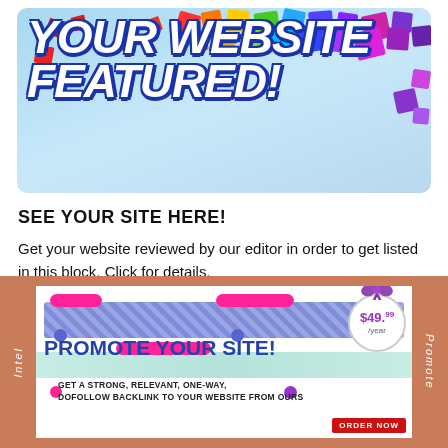[Figure (illustration): Colorful banner with rainbow confetti squares on a light blue background. Bold white italic text reads 'YOUR WEBSITE FEATURED!' with blue outline.]
SEE YOUR SITE HERE!
Get your website reviewed by our editor in order to get listed in this block. Click for details.
[Figure (illustration): Advertisement banner with salmon/terracotta side panels labeled 'Intel' (left) and 'Promote' (right). Main panel shows 'PROMOTE YOUR SITE!' in blue bold text with pink and blue decorative pills/dots, a price badge showing $49.99/year, a bow ribbon, and subtext 'GET A STRONG, RELEVANT, ONE-WAY, DOFOLLOW BACKLINK TO YOUR WEBSITE FROM OURS' with an 'ORDER NOW' red button.]